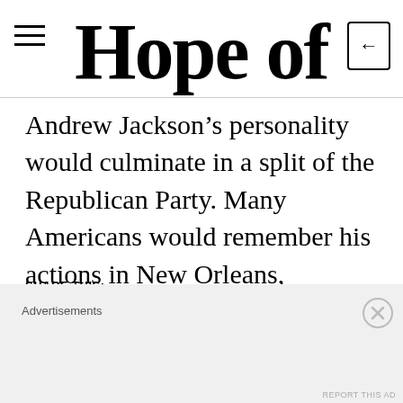Hope of
Andrew Jackson's personality would culminate in a split of the Republican Party. Many Americans would remember his actions in New Orleans, however, and admire his service to the country during the War of 1812.
SHARE THIS:
TWITTER
FACEBOOK
Advertisements